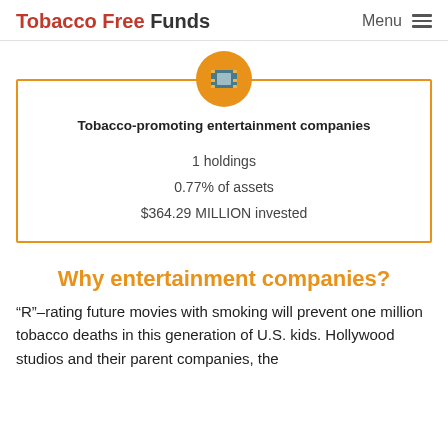Tobacco Free Funds  Menu
[Figure (infographic): Orange circle with film reel icon above a bordered info box showing: Tobacco-promoting entertainment companies, 1 holdings, 0.77% of assets, $364.29 MILLION invested]
Why entertainment companies?
“R”–rating future movies with smoking will prevent one million tobacco deaths in this generation of U.S. kids. Hollywood studios and their parent companies, the